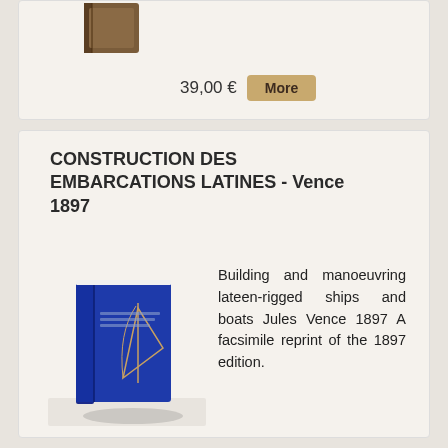39,00 €
More
CONSTRUCTION DES EMBARCATIONS LATINES - Vence 1897
[Figure (photo): Blue hardcover book with gold illustration of a lateen sail on the cover]
Building and manoeuvring lateen-rigged ships and boats Jules Vence 1897 A facsimile reprint of the 1897 edition.